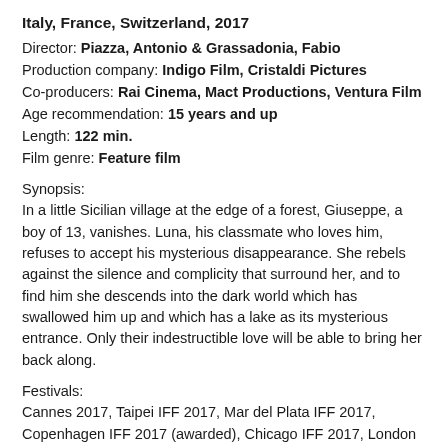Italy, France, Switzerland, 2017
Director: Piazza, Antonio & Grassadonia, Fabio
Production company: Indigo Film, Cristaldi Pictures
Co-producers: Rai Cinema, Mact Productions, Ventura Film
Age recommendation: 15 years and up
Length: 122 min.
Film genre: Feature film
Synopsis:
In a little Sicilian village at the edge of a forest, Giuseppe, a boy of 13, vanishes. Luna, his classmate who loves him, refuses to accept his mysterious disappearance. She rebels against the silence and complicity that surround her, and to find him she descends into the dark world which has swallowed him up and which has a lake as its mysterious entrance. Only their indestructible love will be able to bring her back along.
Festivals:
Cannes 2017, Taipei IFF 2017, Mar del Plata IFF 2017, Copenhagen IFF 2017 (awarded), Chicago IFF 2017, London IFF 2017, Athens IFF 2017 (awarded), David di Donatello Award 2018 (best adapted screenplay), Ciné Jeune de'l Aisne 2018, Kinotrip Ljubljana 2018
World sales address/es:
Match Factory (D)
Sold to: